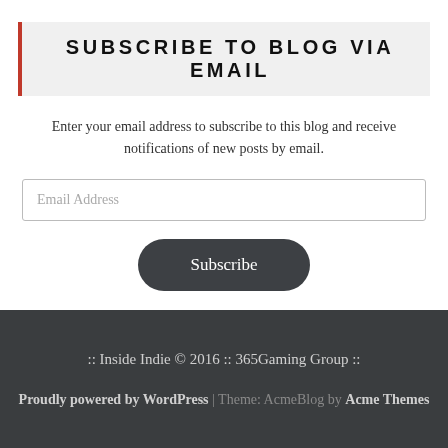SUBSCRIBE TO BLOG VIA EMAIL
Enter your email address to subscribe to this blog and receive notifications of new posts by email.
[Figure (screenshot): Email address input field with placeholder text 'Email Address']
[Figure (screenshot): Subscribe button with dark rounded rectangle style]
:: Inside Indie © 2016 :: 365Gaming Group :: Proudly powered by WordPress | Theme: AcmeBlog by Acme Themes